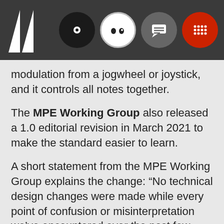[Figure (screenshot): Dark header navigation bar with a white angular logo on the left and four circular icons on the right: black disc with white dot, white circle with two dots (eyes), gray chat bubble icon, red dotted grid icon.]
modulation from a jogwheel or joystick, and it controls all notes together.
The MPE Working Group also released a 1.0 editorial revision in March 2021 to make the standard easier to learn.
A short statement from the MPE Working Group explains the change: “No technical design changes were made while every point of confusion or misinterpretation we’ve encountered over the past few years has been addressed,” it reads. “All the implementation rules are now gathered together into section 2. Detailed